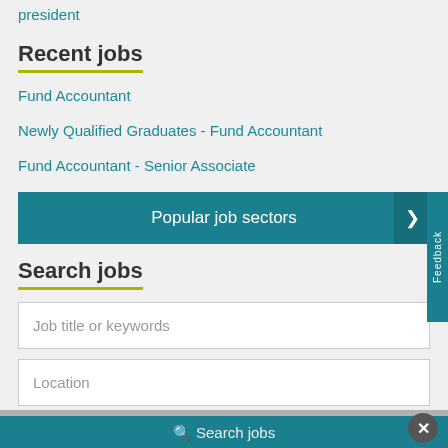president
Recent jobs
Fund Accountant
Newly Qualified Graduates - Fund Accountant
Fund Accountant - Senior Associate
Popular job sectors
Search jobs
Job title or keywords
Location
Search jobs
Feedback